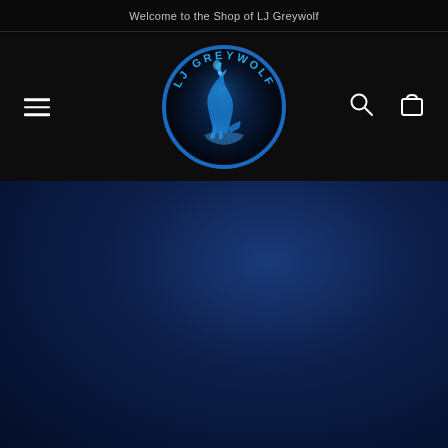Welcome to the Shop of LJ Greywolf
[Figure (logo): LJ Greywolf circular logo with a blue glowing wolf howling at the moon, text 'LJ GREYWOLF' around the circle border, dark background with blue gradient]
[Figure (illustration): Dark blue radial gradient background section, deep navy to midnight blue, occupying the lower two-thirds of the page]